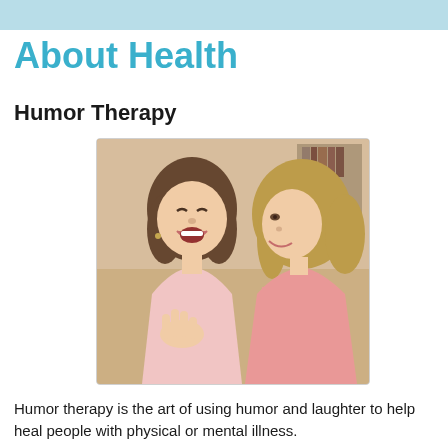About Health
Humor Therapy
[Figure (photo): Two women laughing together, one with dark hair wearing a light pink top gesturing with her hand, and one with lighter hair wearing pink, appearing to share a joke or funny story.]
Humor therapy is the art of using humor and laughter to help heal people with physical or mental illness.